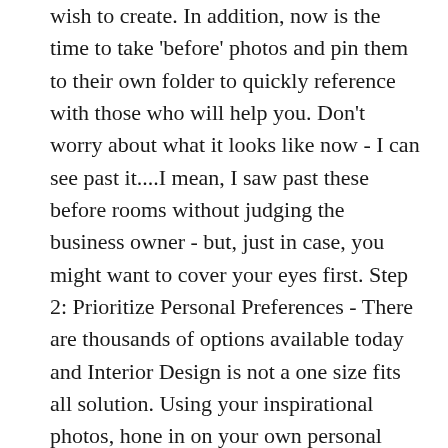wish to create. In addition, now is the time to take 'before' photos and pin them to their own folder to quickly reference with those who will help you. Don't worry about what it looks like now - I can see past it....I mean, I saw past these before rooms without judging the business owner - but, just in case, you might want to cover your eyes first. Step 2: Prioritize Personal Preferences - There are thousands of options available today and Interior Design is not a one size fits all solution. Using your inspirational photos, hone in on your own personal style by dissecting the images and pulling them into a Visual Guide to share with others. This visual